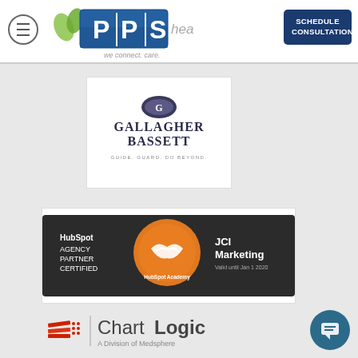PPS Health - We connect. care. | Schedule Consultation
[Figure (logo): Gallagher Bassett logo: GUIDE. GUARD. DO BEYOND.]
[Figure (logo): HubSpot Agency Partner Certified - JCI Marketing - Valid until Jan 1 2020 - HubSpot Academy badge]
[Figure (logo): ChartLogic - A Division of Medsphere logo]